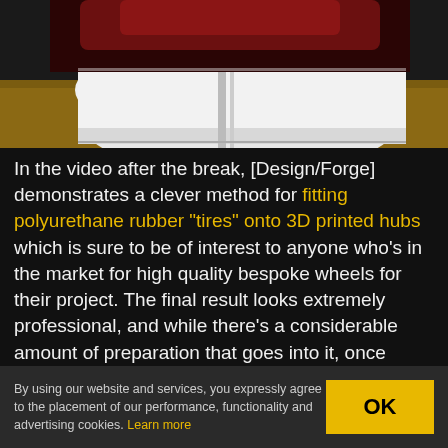[Figure (photo): Close-up photo of a white 3D printed hub/wheel on a wooden surface, with a dark red/black object visible at the top]
In the video after the break, [Design/Forge] demonstrates a clever method for fitting polyurethane rubber “tires” onto 3D printed hubs which is sure to be of interest to anyone who’s in the market for high quality bespoke wheels for their project. The final result looks extremely professional, and while there’s a considerable amount of preparation that goes into it, once you’re set up you should
By using our website and services, you expressly agree to the placement of our performance, functionality and advertising cookies. Learn more